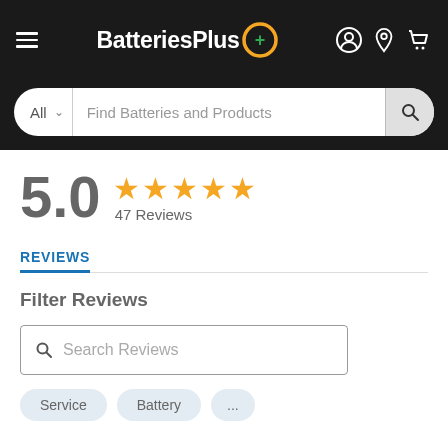BatteriesPlus — navigation bar with hamburger menu, logo, and icons for account, location, and cart
All | Find Batteries and Products
5.0 ★★★★★ 47 Reviews
REVIEWS
Filter Reviews
Search Reviews
Service  Battery  ...